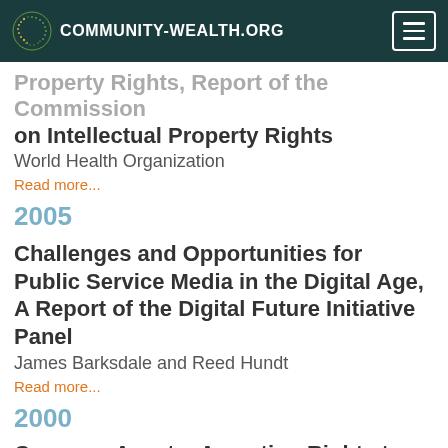COMMUNITY-WEALTH.ORG
Property Rights, Report of the Commission on Intellectual Property Rights
World Health Organization
Read more...
2005
Challenges and Opportunities for Public Service Media in the Digital Age, A Report of the Digital Future Initiative Panel
James Barksdale and Reed Hundt
Read more...
2000
Common Assets: Asserting Rights to Our